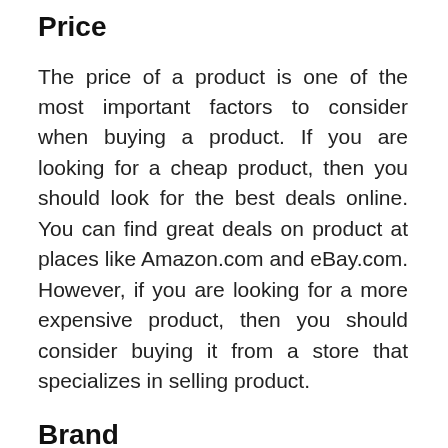Price
The price of a product is one of the most important factors to consider when buying a product. If you are looking for a cheap product, then you should look for the best deals online. You can find great deals on product at places like Amazon.com and eBay.com. However, if you are looking for a more expensive product, then you should consider buying it from a store that specializes in selling product.
Brand